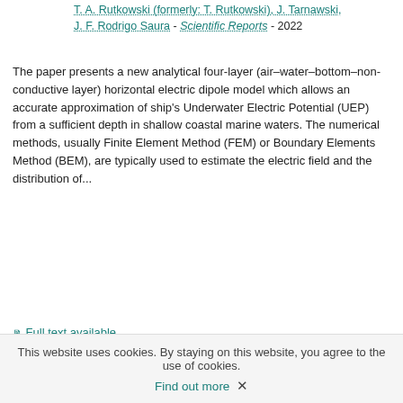T. A. Rutkowski (formerly: T. Rutkowski), J. Tarnawski, J. F. Rodrigo Saura - Scientific Reports - 2022
The paper presents a new analytical four-layer (air–water–bottom–non-conductive layer) horizontal electric dipole model which allows an accurate approximation of ship's Underwater Electric Potential (UEP) from a sufficient depth in shallow coastal marine waters. The numerical methods, usually Finite Element Method (FEM) or Boundary Elements Method (BEM), are typically used to estimate the electric field and the distribution of...
Full text available
An Innovative Antenna Array with High Inter Element Isolation for Sub-6 GHz 5G MIMO Communication Systems
publication  M. Alibakhshikenari, B. S. Virdee, H. Benetatos, E. M. Ali, M. Soruri, M. Dalarsson, M. Naser-Moghadasi, C. H. See, A. Pietrenko-Dąbrowska, S. Kozieł (formerly: M. Kozieł)... and 2 others - Scientific
This website uses cookies. By staying on this website, you agree to the use of cookies.
Find out more ✕